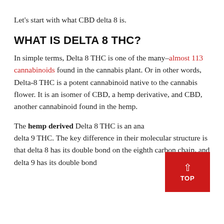Let's start with what CBD delta 8 is.
WHAT IS DELTA 8 THC?
In simple terms, Delta 8 THC is one of the many–almost 113 cannabinoids found in the cannabis plant. Or in other words, Delta-8 THC is a potent cannabinoid native to the cannabis flower. It is an isomer of CBD, a hemp derivative, and CBD, another cannabinoid found in the hemp.
The hemp derived Delta 8 THC is an analog of delta 9 THC. The key difference in their molecular structure is that delta 8 has its double bond on the eighth carbon chain, and delta 9 has its double bond